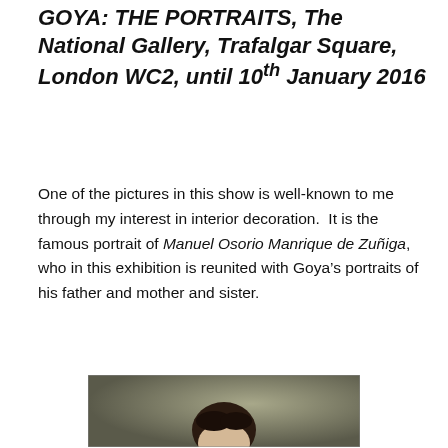GOYA: THE PORTRAITS, The National Gallery, Trafalgar Square, London WC2, until 10th January 2016
One of the pictures in this show is well-known to me through my interest in interior decoration.  It is the famous portrait of Manuel Osorio Manrique de Zuñiga, who in this exhibition is reunited with Goya's portraits of his father and mother and sister.
[Figure (photo): Portrait painting of a young child (Manuel Osorio Manrique de Zuñiga) dressed in a red suit with a white sash, standing against a dark background, holding a string attached to a bird.]